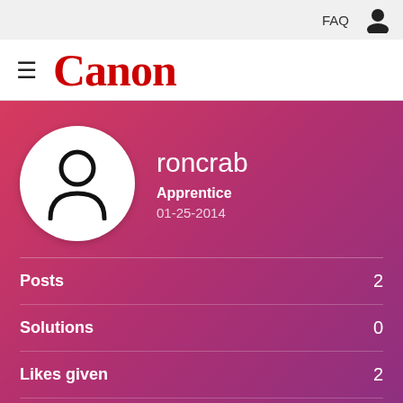FAQ
[Figure (logo): Canon logo with hamburger menu icon]
[Figure (illustration): User profile avatar circle with person silhouette icon]
roncrab
Apprentice
01-25-2014
Posts 2
Solutions 0
Likes given 2
Likes received 1